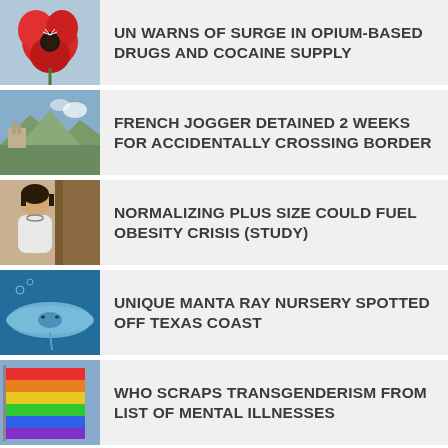UN WARNS OF SURGE IN OPIUM-BASED DRUGS AND COCAINE SUPPLY
FRENCH JOGGER DETAINED 2 WEEKS FOR ACCIDENTALLY CROSSING BORDER
NORMALIZING PLUS SIZE COULD FUEL OBESITY CRISIS (STUDY)
UNIQUE MANTA RAY NURSERY SPOTTED OFF TEXAS COAST
WHO SCRAPS TRANSGENDERISM FROM LIST OF MENTAL ILLNESSES
456 PEOPLE DEAD AT U.K. HOSPITAL AFTER TAKING TOO MANY PAINKILLERS
KENYANS FACING POOR NUTRITION AS SUPERMARKET SHOPPING IS ON THE RISE